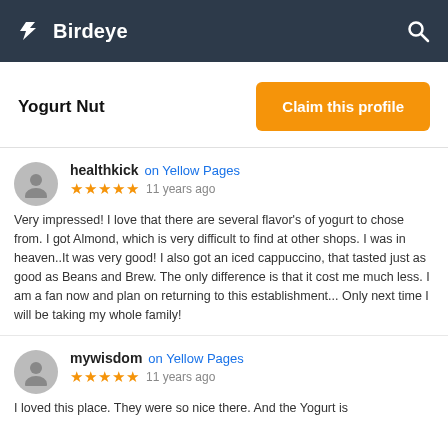Birdeye
Yogurt Nut
Claim this profile
healthkick on Yellow Pages
★★★★★ 11 years ago
Very impressed! I love that there are several flavor's of yogurt to chose from. I got Almond, which is very difficult to find at other shops. I was in heaven..It was very good! I also got an iced cappuccino, that tasted just as good as Beans and Brew. The only difference is that it cost me much less. I am a fan now and plan on returning to this establishment... Only next time I will be taking my whole family!
mywisdom on Yellow Pages
★★★★★ 11 years ago
I loved this place. They were so nice there. And the Yogurt is